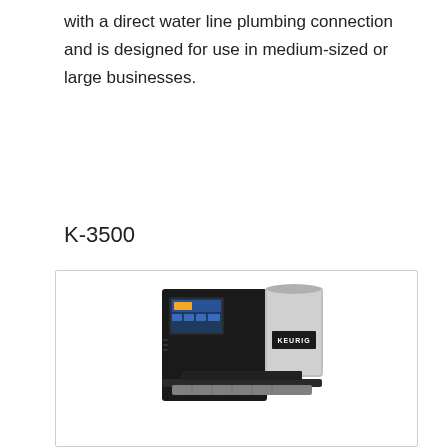with a direct water line plumbing connection and is designed for use in medium-sized or large businesses.
K-3500
[Figure (photo): Keurig K-3500 commercial coffee machine, black body with silver/chrome coffee canister and touchscreen display panel]
Keurig K-3500 Commercial Maker Capsule Coffee Machine, 17.4" x 12" x